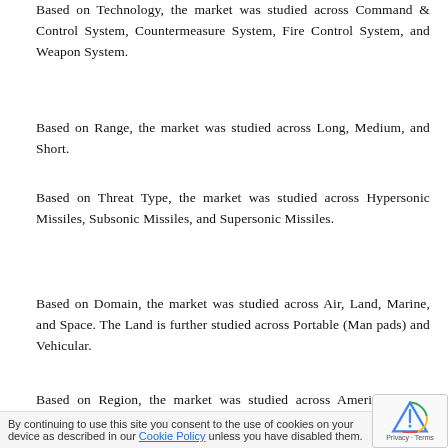Based on Technology, the market was studied across Command & Control System, Countermeasure System, Fire Control System, and Weapon System.
Based on Range, the market was studied across Long, Medium, and Short.
Based on Threat Type, the market was studied across Hypersonic Missiles, Subsonic Missiles, and Supersonic Missiles.
Based on Domain, the market was studied across Air, Land, Marine, and Space. The Land is further studied across Portable (Man pads) and Vehicular.
Based on Region, the market was studied across Americas, Asia-Pacific, and Europe, Middle East & Africa. The Americas is further studied across Argentina, Brazil, Canada, Mexico, and United States. The United States is further studied across California, Florida, Illinois, New York, Ohio, Pennsylvania, and Texas. The Asia-Pacific is further studied across Australia, China, India, Indonesia, Japan, Ma...
By continuing to use this site you consent to the use of cookies on your device as described in our Cookie Policy unless you have disabled them.